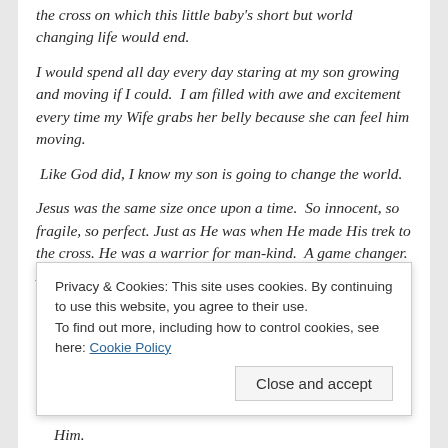the cross on which this little baby's short but world changing life would end.
I would spend all day every day staring at my son growing and moving if I could.  I am filled with awe and excitement every time my Wife grabs her belly because she can feel him moving.
Like God did, I know my son is going to change the world.
Jesus was the same size once upon a time.  So innocent, so fragile, so perfect. Just as He was when He made His trek to the cross. He was a warrior for man-kind.  A game changer. An eternity adjuster.
On (or around) April 13th, I will hold Asher Reid Bryant for
Privacy & Cookies: This site uses cookies. By continuing to use this website, you agree to their use.
To find out more, including how to control cookies, see here: Cookie Policy
Close and accept
Him.